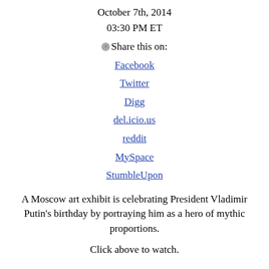October 7th, 2014
03:30 PM ET
Share this on: Facebook Twitter Digg del.icio.us reddit MySpace StumbleUpon
A Moscow art exhibit is celebrating President Vladimir Putin's birthday by portraying him as a hero of mythic proportions.
Click above to watch.
Filed under: Christiane Amanpour • Imagine a World • Latest Episode • Russia
soundoff (25 Responses)
1. StanCalif
Too bad the Russian people are so gullible. They seem to